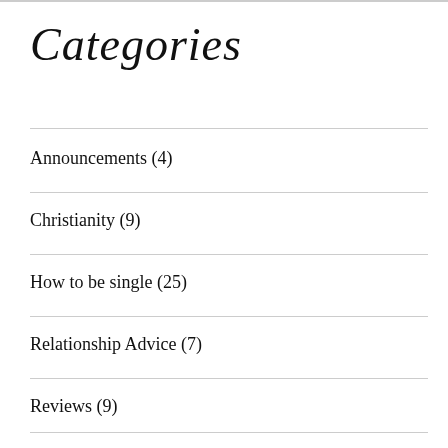Categories
Announcements (4)
Christianity (9)
How to be single (25)
Relationship Advice (7)
Reviews (9)
Toxic Mothers (4)
Uncategorized (6)